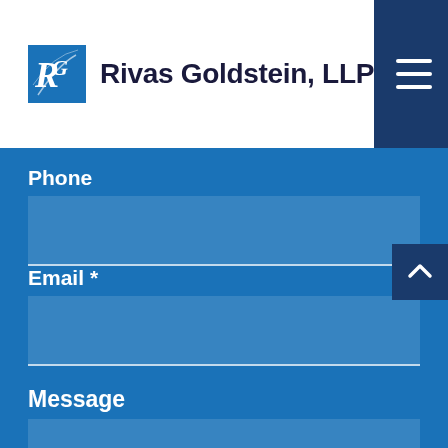Rivas Goldstein, LLP
Phone
Email *
Message